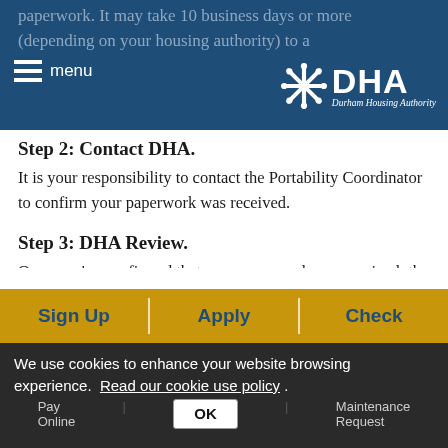DHA – Durham Housing Authority (header bar with menu and logo)
paperwork. It may take 10 business days or more (depending on your housing authority) to a…
Step 2: Contact DHA.
It is your responsibility to contact the Portability Coordinator to confirm your paperwork was received.
Step 3: DHA Review.
Once you've confirmed that your paperwork was received, the Coordinator will need to review it, and contact you within 3-5 business days to confirm your information. Additional documentation may be required.
Step 4: Briefing
Sign Up | Apply | Check | Pay Online | Maintenance Request
We use cookies to enhance your website browsing experience. Read our cookie use policy . OK